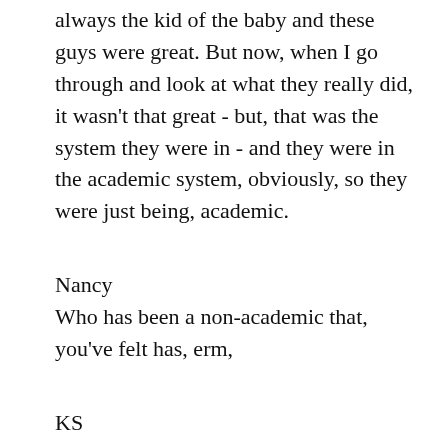always the kid of the baby and these guys were great. But now, when I go through and look at what they really did, it wasn't that great - but, that was the system they were in - and they were in the academic system, obviously, so they were just being, academic.
Nancy
Who has been a non-academic that, you've felt has, erm,
KS
Well, I don't mind pouring through that as a question - I will just go ahead and play bumper ball - you know, ricochet off first one wall and then another trying to find an answer to that. I'll start with a few nots.
I can take the top list of everybody that I know of in cold fusion... where it's at... that is supposed to be a